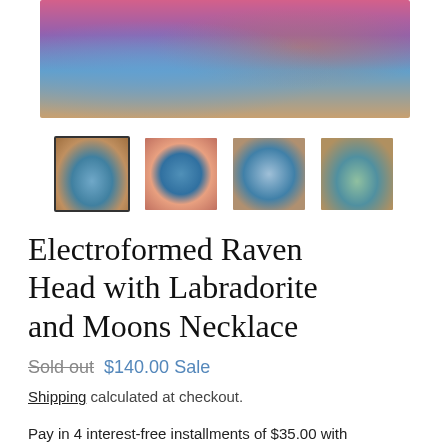[Figure (photo): Top portion of a product photo showing electroformed raven head jewelry with labradorite and moons, colorful beadwork visible]
[Figure (photo): Four thumbnail images of the necklace product from different angles; first thumbnail is highlighted with a border]
Electroformed Raven Head with Labradorite and Moons Necklace
Sold out  $140.00 Sale
Shipping calculated at checkout.
Pay in 4 interest-free installments of $35.00 with